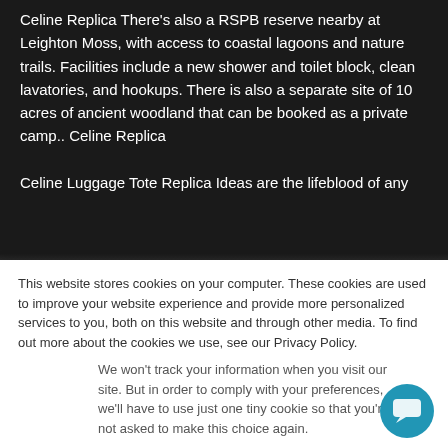Celine Replica There's also a RSPB reserve nearby at Leighton Moss, with access to coastal lagoons and nature trails. Facilities include a new shower and toilet block, clean lavatories, and hookups. There is also a separate site of 10 acres of ancient woodland that can be booked as a private camp.. Celine Replica
Celine Luggage Tote Replica Ideas are the lifeblood of any
This website stores cookies on your computer. These cookies are used to improve your website experience and provide more personalized services to you, both on this website and through other media. To find out more about the cookies we use, see our Privacy Policy.
We won't track your information when you visit our site. But in order to comply with your preferences, we'll have to use just one tiny cookie so that you're not asked to make this choice again.